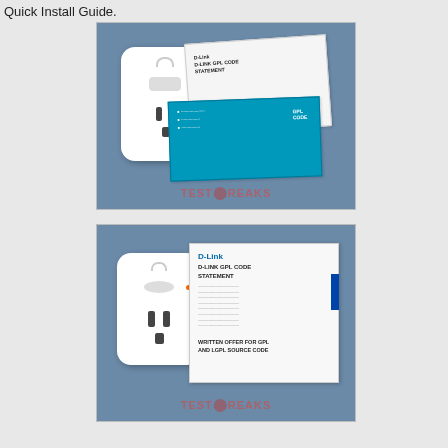Quick Install Guide.
[Figure (photo): D-Link smart plug device shown with white GPL Code Statement document and blue Quick Install Guide pamphlet, with TestFreaks watermark]
[Figure (photo): Close-up of D-Link smart plug device next to white D-Link GPL Code Statement document showing text 'D-LINK GPL CODE STATEMENT' and 'WRITTEN OFFER FOR GPL AND LGPL SOURCE CODE', with TestFreaks watermark]